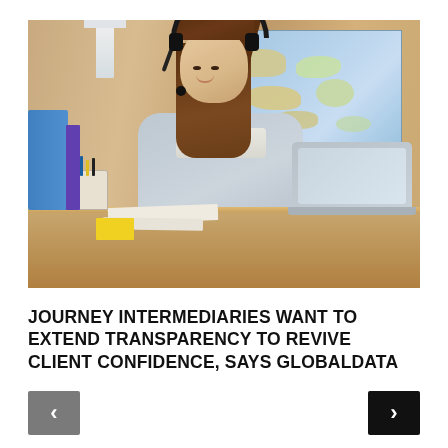[Figure (photo): A smiling woman wearing a headset sits at a desk with a laptop, in an office with a world map on the wall and wooden panel background. She appears to be a travel agent or customer service representative.]
JOURNEY INTERMEDIARIES WANT TO EXTEND TRANSPARENCY TO REVIVE CLIENT CONFIDENCE, SAYS GLOBALDATA